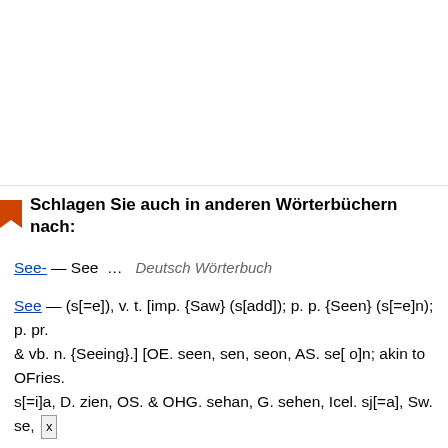Schlagen Sie auch in anderen Wörterbüchern nach:
See- — See ...   Deutsch Wörterbuch
See — (s[=e]), v. t. [imp. {Saw} (s[add]); p. p. {Seen} (s[=e]n); p. pr. & vb. n. {Seeing}.] [OE. seen, sen, seon, AS. se[ o]n; akin to OFries. s[=i]a, D. zien, OS. & OHG. sehan, G. sehen, Icel. sj[=a], Sw. se, ...